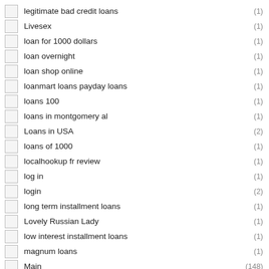legitimate bad credit loans (1)
Livesex (1)
loan for 1000 dollars (1)
loan overnight (1)
loan shop online (1)
loanmart loans payday loans (1)
loans 100 (1)
loans in montgomery al (1)
Loans in USA (2)
loans of 1000 (1)
localhookup fr review (1)
log in (1)
login (2)
long term installment loans (1)
Lovely Russian Lady (1)
low interest installment loans (1)
magnum loans (1)
Main (148)